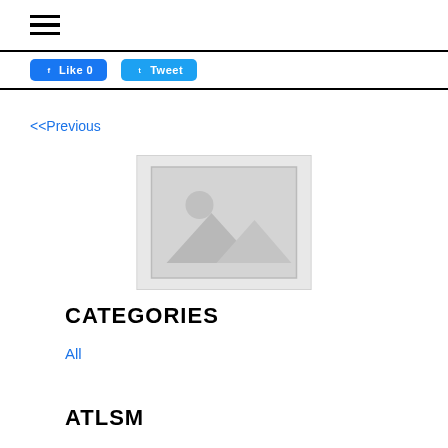☰ (hamburger menu icon)
[Figure (screenshot): Social media buttons: Facebook Like (blue) and Twitter Tweet (blue)]
<<Previous
[Figure (illustration): Placeholder image with mountains and sun icon on light grey background]
CATEGORIES
All
ATLSM